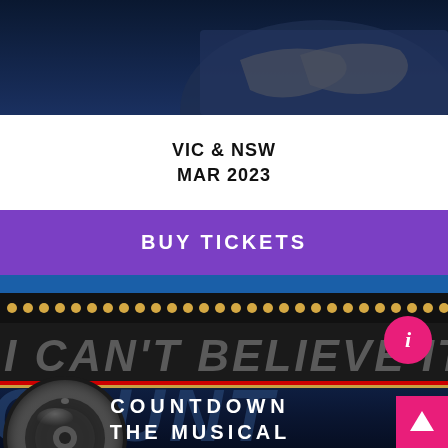[Figure (photo): Dark blue background with partial view of a person with arms crossed, top portion of page]
VIC & NSW
MAR 2023
BUY TICKETS
[Figure (photo): Countdown The Musical promotional banner with marquee lights, scrolling text 'I CAN'T BELIEVE IT'S N...' and large stylized COUNTDOWN letters with vinyl record graphic]
COUNTDOWN
THE MUSICAL